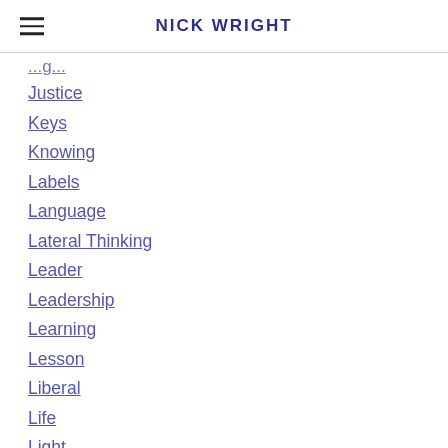NICK WRIGHT
Justice
Keys
Knowing
Labels
Language
Lateral Thinking
Leader
Leadership
Learning
Lesson
Liberal
Life
Light
Listening